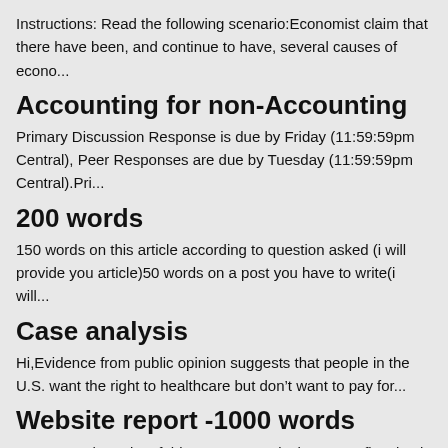Instructions: Read the following scenario:Economist claim that there have been, and continue to have, several causes of econo...
Accounting for non-Accounting
Primary Discussion Response is due by Friday (11:59:59pm Central), Peer Responses are due by Tuesday (11:59:59pm Central).Pri...
200 words
150 words on this article according to question asked (i will provide you article)50 words on a post you have to write(i will...
Case analysis
Hi,Evidence from public opinion suggests that people in the U.S. want the right to healthcare but don&rsquo;t want to pay for...
Website report -1000 words
Summary.The point of this assessment is that you reflect back on